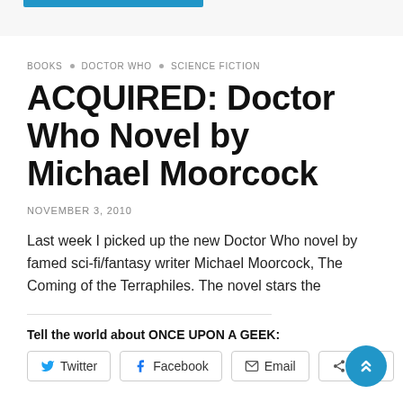BOOKS · DOCTOR WHO · SCIENCE FICTION
ACQUIRED: Doctor Who Novel by Michael Moorcock
NOVEMBER 3, 2010
Last week I picked up the new Doctor Who novel by famed sci-fi/fantasy writer Michael Moorcock, The Coming of the Terraphiles. The novel stars the
Tell the world about ONCE UPON A GEEK:
Twitter
Facebook
Email
More